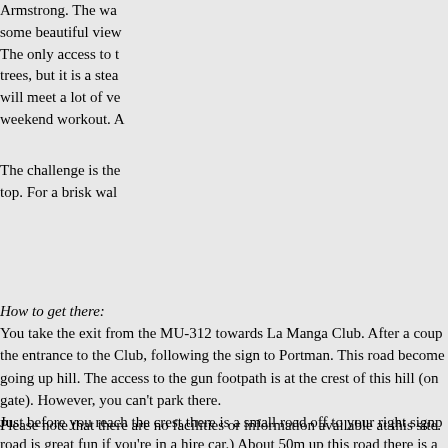Armstrong. The walk provides some beautiful views. The only access to the trees, but it is a steep will meet a lot of ve weekend workout. A
The challenge is the top. For a brisk wal
How to get there: You take the exit from the MU-312 towards La Manga Club. After a coup the entrance to the Club, following the sign to Portman. This road become going up hill. The access to the gun footpath is at the crest of this hill (on gate). However, you can't park there. Just before you reach the crest there is a small road off to your right signp road is great fun if you're in a hire car.) About 50m up this road there is a
Please note that there are no facilities or information available at this site.